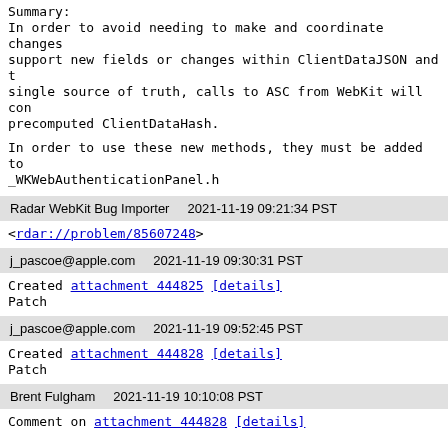Summary:
In order to avoid needing to make and coordinate changes support new fields or changes within ClientDataJSON and t single source of truth, calls to ASC from WebKit will con precomputed ClientDataHash.
In order to use these new methods, they must be added to _WKWebAuthenticationPanel.h
Radar WebKit Bug Importer    2021-11-19 09:21:34 PST
<rdar://problem/85607248>
j_pascoe@apple.com    2021-11-19 09:30:31 PST
Created attachment 444825 [details]
Patch
j_pascoe@apple.com    2021-11-19 09:52:45 PST
Created attachment 444828 [details]
Patch
Brent Fulgham    2021-11-19 10:10:08 PST
Comment on attachment 444828 [details]